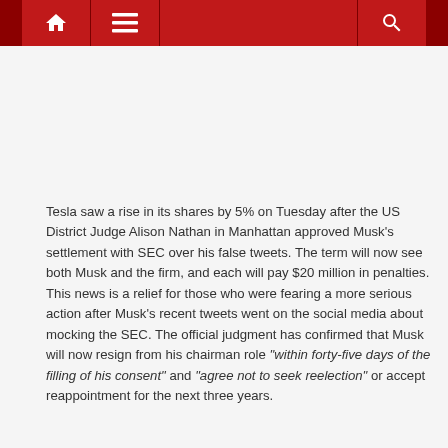[Figure (screenshot): Navigation bar with home icon, hamburger menu icon, and search icon on a dark red background]
Tesla saw a rise in its shares by 5% on Tuesday after the US District Judge Alison Nathan in Manhattan approved Musk's settlement with SEC over his false tweets. The term will now see both Musk and the firm, and each will pay $20 million in penalties. This news is a relief for those who were fearing a more serious action after Musk's recent tweets went on the social media about mocking the SEC. The official judgment has confirmed that Musk will now resign from his chairman role "within forty-five days of the filling of his consent" and "agree not to seek reelection" or accept reappointment for the next three years.